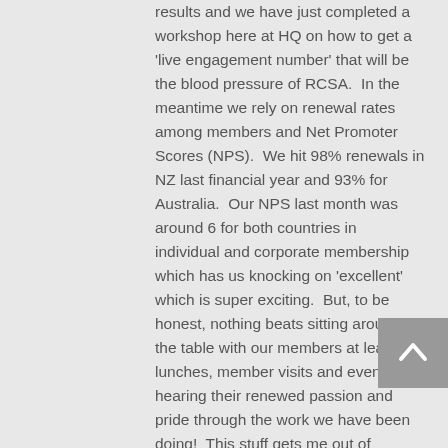results and we have just completed a workshop here at HQ on how to get a 'live engagement number' that will be the blood pressure of RCSA.  In the meantime we rely on renewal rates among members and Net Promoter Scores (NPS).  We hit 98% renewals in NZ last financial year and 93% for Australia.  Our NPS last month was around 6 for both countries in individual and corporate membership which has us knocking on 'excellent' which is super exciting.  But, to be honest, nothing beats sitting around the table with our members at leaders lunches, member visits and events and hearing their renewed passion and pride through the work we have been doing!  This stuff gets me out of bed…..and